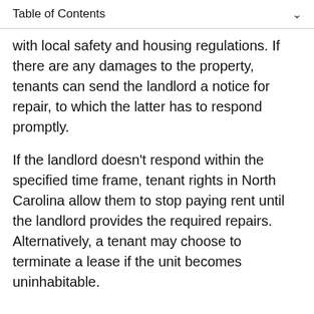Table of Contents
with local safety and housing regulations. If there are any damages to the property, tenants can send the landlord a notice for repair, to which the latter has to respond promptly.
If the landlord doesn't respond within the specified time frame, tenant rights in North Carolina allow them to stop paying rent until the landlord provides the required repairs. Alternatively, a tenant may choose to terminate a lease if the unit becomes uninhabitable.